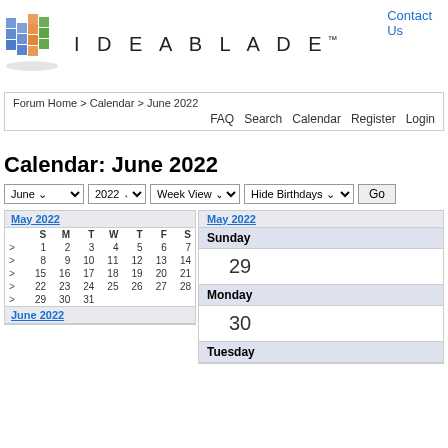Contact Us
[Figure (logo): IdeaBlade logo with colorful building blocks graphic and IDEABLADE™ text]
Forum Home > Calendar > June 2022
FAQ  Search  Calendar  Register  Login
Calendar: June 2022
June  2022  Week View  Hide Birthdays  Go
|  | S | M | T | W | T | F | S |
| --- | --- | --- | --- | --- | --- | --- | --- |
| > | 1 | 2 | 3 | 4 | 5 | 6 | 7 |
| > | 8 | 9 | 10 | 11 | 12 | 13 | 14 |
| > | 15 | 16 | 17 | 18 | 19 | 20 | 21 |
| > | 22 | 23 | 24 | 25 | 26 | 27 | 28 |
| > | 29 | 30 | 31 |  |  |  |  |
June 2022
May 2022
Sunday
29
Monday
30
Tuesday